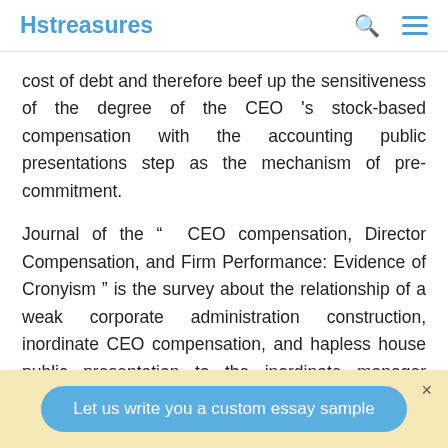Hstreasures
cost of debt and therefore beef up the sensitiveness of the degree of the CEO 's stock-based compensation with the accounting public presentations step as the mechanism of pre-commitment.
Journal of the “ CEO compensation, Director Compensation, and Firm Performance: Evidence of Cronyism ” is the survey about the relationship of a weak corporate administration construction, inordinate CEO compensation, and hapless house public presentation to the inordinate manager compensation. This research used study informations from criterion and hapless 's